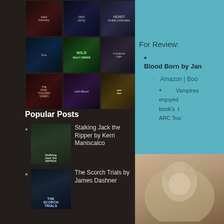[Figure (illustration): Grid of 9 book covers in a dark sidebar]
Popular Posts
[Figure (illustration): Thumbnail of Stalking Jack the Ripper book cover]
Stalking Jack the Ripper by Kerri Maniscalco
[Figure (illustration): Thumbnail of The Scorch Trials book cover]
The Scorch Trials by James Dashner
For Review:
Blood Born by Jan...
Amazon | Boo...
Vampires... enjoyed ... book's t... ARC Tou...
[Figure (photo): Photo of a person/pet in lower right corner]